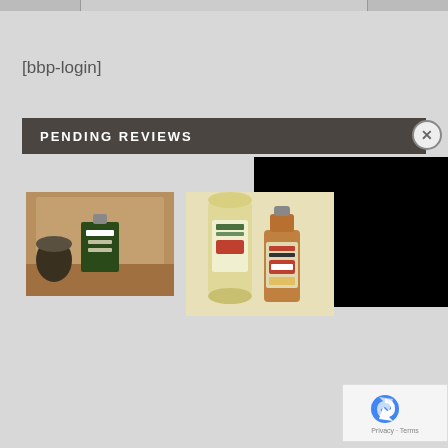[Figure (photo): Top banner with three image sections - left gray, center gray, right gray]
[bbp-login]
PENDING REVIEWS
[Figure (photo): Peerless whiskey bottle and jar product photo]
[Figure (photo): Edradour 10 year whisky bottle and canister product photo]
[Figure (other): Black overlay panel]
[Figure (other): reCAPTCHA widget with Privacy and Terms links]